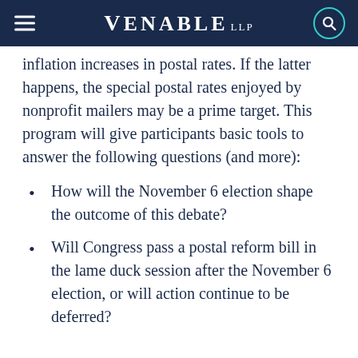VENABLE LLP
inflation increases in postal rates. If the latter happens, the special postal rates enjoyed by nonprofit mailers may be a prime target. This program will give participants basic tools to answer the following questions (and more):
How will the November 6 election shape the outcome of this debate?
Will Congress pass a postal reform bill in the lame duck session after the November 6 election, or will action continue to be deferred?